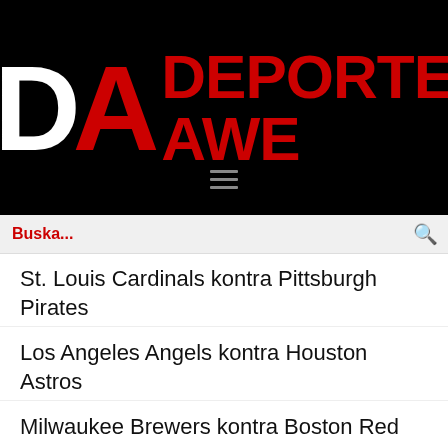[Figure (logo): Deporte Awe logo — large white D and red A letters on black background with red text DEPORTE AWE]
Buska...
St. Louis Cardinals kontra Pittsburgh Pirates
Los Angeles Angels kontra Houston Astros
Milwaukee Brewers kontra Boston Red Sox
San Diego Padres kontra Miami Marlins
Texas Rangers kontra Tampa Bay Rays